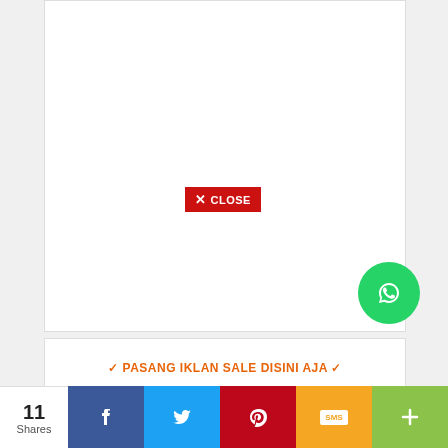[Figure (other): Large white advertisement box with a red CLOSE button in the center]
[Figure (other): Green WhatsApp circular button with phone/chat icon]
[Figure (other): Second white box with orange text: ✓ PASANG IKLAN SALE DISINI AJA ✓]
✓ PASANG IKLAN SALE DISINI AJA ✓
11 Shares
[Figure (infographic): Social share bar with Facebook, Twitter, Pinterest, SMS, and More buttons]